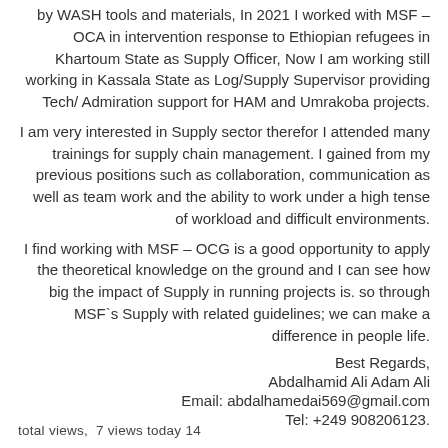by WASH tools and materials, In 2021 I worked with MSF – OCA in intervention response to Ethiopian refugees in Khartoum State as Supply Officer, Now I am working still working in Kassala State as Log/Supply Supervisor providing Tech/ Admiration support for HAM and Umrakoba projects.
I am very interested in Supply sector therefor I attended many trainings for supply chain management. I gained from my previous positions such as collaboration, communication as well as team work and the ability to work under a high tense of workload and difficult environments.
I find working with MSF – OCG is a good opportunity to apply the theoretical knowledge on the ground and I can see how big the impact of Supply in running projects is. so through MSF`s Supply with related guidelines; we can make a difference in people life.
Best Regards, Abdalhamid Ali Adam Ali Email: abdalhamedai569@gmail.com Tel: +249 908206123.
total views,  7 views today 14